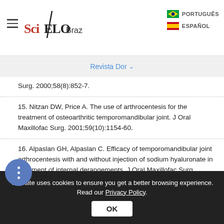SciELO Brazil — Revista Dor — PORTUGUÊS / ESPAÑOL
Revista Dor
Surg. 2000;58(8):852-7.
15. Nitzan DW, Price A. The use of arthrocentesis for the treatment of osteoarthritic temporomandibular joint. J Oral Maxillofac Surg. 2001;59(10):1154-60.
16. Alpaslan GH, Alpaslan C. Efficacy of temporomandibular joint arthrocentesis with and without injection of sodium hyaluronate in treatment of internal derangements. J Oral Maxillofac Surg. 2001;59(6):613-9.
This site uses cookies to ensure you get a better browsing experience. Read our Privacy Policy.